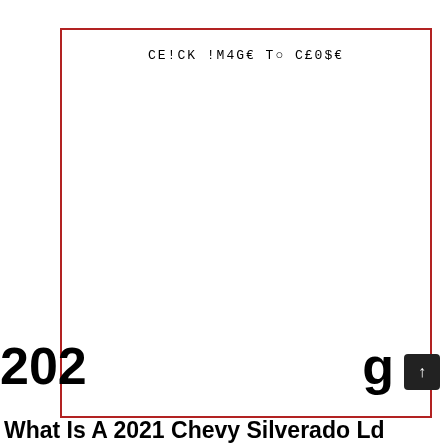[Figure (other): A large red-bordered rectangle (image placeholder) with monospace text 'CE!CK !M4GE To CE0$E' near the top center. The interior is white/blank.]
202
g
What Is A 2021 Chevy Silverado Ld